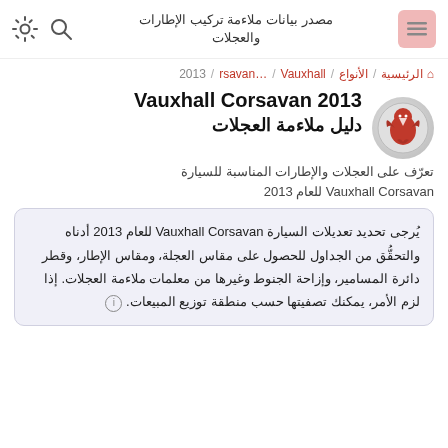مصدر بيانات ملاءمة تركيب الإطارات والعجلات
الرئيسية / الأنواع / Vauxhall / …rsavan / 2013
Vauxhall Corsavan 2013 دليل ملاءمة العجلات
تعرّف على العجلات والإطارات المناسبة للسيارة Vauxhall Corsavan للعام 2013
يُرجى تحديد تعديلات السيارة Vauxhall Corsavan للعام 2013 أدناه والتحقُّق من الجداول للحصول على مقاس العجلة، ومقاس الإطار، وقطر دائرة المسامير، وإزاحة الجنوط وغيرها من معلمات ملاءمة العجلات. إذا لزم الأمر، يمكنك تصفيتها حسب منطقة توزيع المبيعات. ⓘ